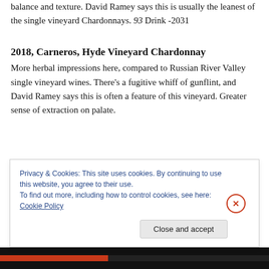balance and texture. David Ramey says this is usually the leanest of the single vineyard Chardonnays. 93 Drink -2031
2018, Carneros, Hyde Vineyard Chardonnay
More herbal impressions here, compared to Russian River Valley single vineyard wines. There's a fugitive whiff of gunflint, and David Ramey says this is often a feature of this vineyard. Greater sense of extraction on palate...
Privacy & Cookies: This site uses cookies. By continuing to use this website, you agree to their use.
To find out more, including how to control cookies, see here: Cookie Policy
Close and accept